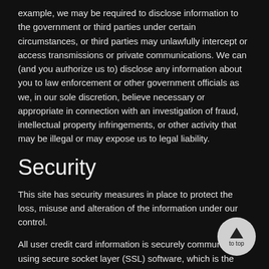example, we may be required to disclose information to the government or third parties under certain circumstances, or third parties may unlawfully intercept or access transmissions or private communications. We can (and you authorize us to) disclose any information about you to law enforcement or other government officials as we, in our sole discretion, believe necessary or appropriate in connection with an investigation of fraud, intellectual property infringements, or other activity that may be illegal or may expose us to legal liability.
Security
This site has security measures in place to protect the loss, misuse and alteration of the information under our control.
All user credit card information is securely communicated using secure socket layer (SSL) software, which is the industry standard and among the best software available for secure commerce transactions.
All user information stored on our server is stored in an encrypted format. Notwithstanding these efforts, we caution you that perfect security does not exist on the Internet.